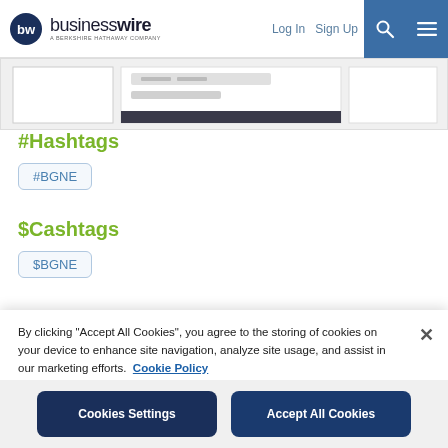businesswire — A BERKSHIRE HATHAWAY COMPANY | Log In | Sign Up
[Figure (screenshot): Partial screenshot of a web page image strip]
#Hashtags
#BGNE
$Cashtags
$BGNE
Social Media Profiles
By clicking "Accept All Cookies", you agree to the storing of cookies on your device to enhance site navigation, analyze site usage, and assist in our marketing efforts. Cookie Policy
Cookies Settings | Accept All Cookies